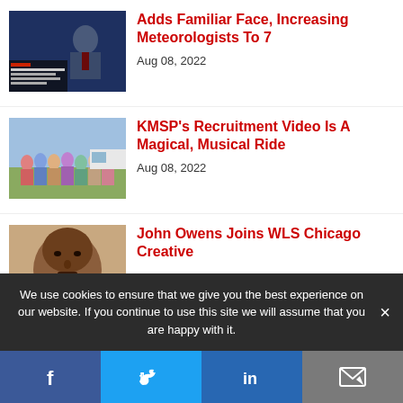[Figure (photo): TV news broadcast screenshot with meteorologist graphic]
Adds Familiar Face, Increasing Meteorologists To 7
Aug 08, 2022
[Figure (photo): Group of people outdoors at an event for KMSP recruitment video]
KMSP's Recruitment Video Is A Magical, Musical Ride
Aug 08, 2022
[Figure (photo): Headshot of John Owens, a bald Black man]
John Owens Joins WLS Chicago Creative
We use cookies to ensure that we give you the best experience on our website. If you continue to use this site we will assume that you are happy with it.